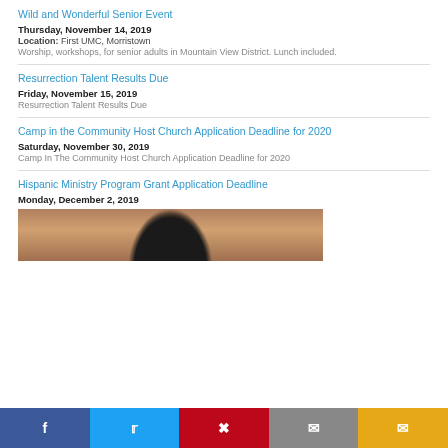Wild and Wonderful Senior Event
Thursday, November 14, 2019
Location: First UMC, Morristown
Worship, workshops, for senior adults in Mountain View District. Lunch included.
Resurrection Talent Results Due
Friday, November 15, 2019
Resurrection Talent Results Due
Camp in the Community Host Church Application Deadline for 2020
Saturday, November 30, 2019
Camp In The Community Host Church Application Deadline for 2020
Hispanic Ministry Program Grant Application Deadline
Monday, December 2, 2019
[Figure (photo): Photo of a woman, partially visible, cropped at bottom of page]